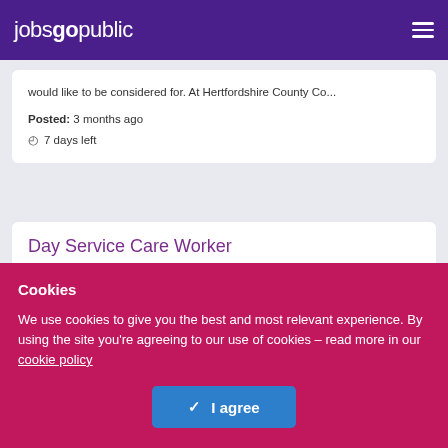jobsgopublic
would like to be considered for. At Hertfordshire County Co...
Posted: 3 months ago
7 days left
Day Service Care Worker
Hertfordshire County Council
Cookies
We use cookies to give you the best and most relevant experience. By using the site you're agreeing to our use of cookies - read more in our cookie policy
I agree